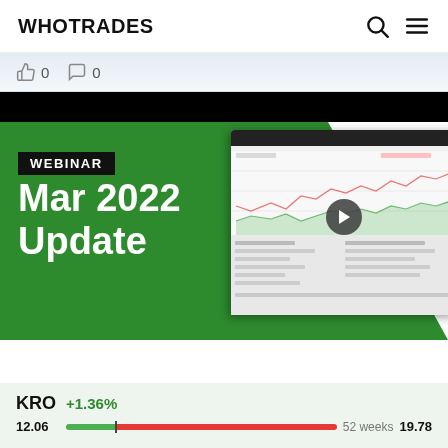WHOTRADES
0  0
[Figure (screenshot): Webinar thumbnail showing 'WEBINAR Mar 2022 Update' text on green background with a blurred trading platform screenshot and play button]
KRO  +1.36%
12.06  52 weeks  19.78